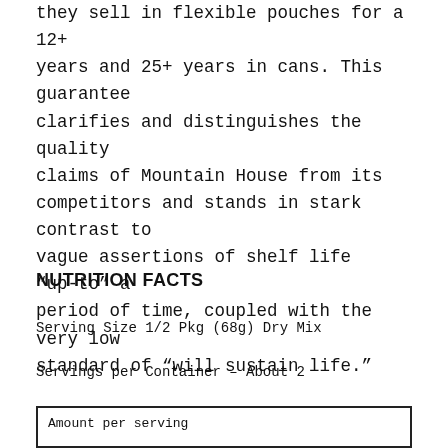they sell in flexible pouches for a 12+ years and 25+ years in cans. This guarantee clarifies and distinguishes the quality claims of Mountain House from its competitors and stands in stark contrast to vague assertions of shelf life “up-to” a period of time, coupled with the very low standard of “will sustain life.”
NUTRITION FACTS
Serving Size 1/2 Pkg (68g) Dry Mix
Servings per Container - About 2
Amount per serving